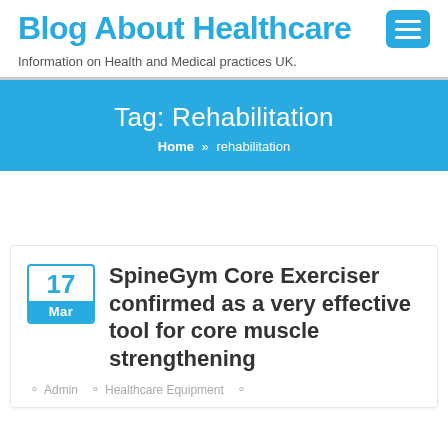Blog About Healthcare
Information on Health and Medical practices UK.
Tag: Rehabilitation
Home » rehabilitation
SpineGym Core Exerciser confirmed as a very effective tool for core muscle strengthening
Admin   Healthcare Equipment